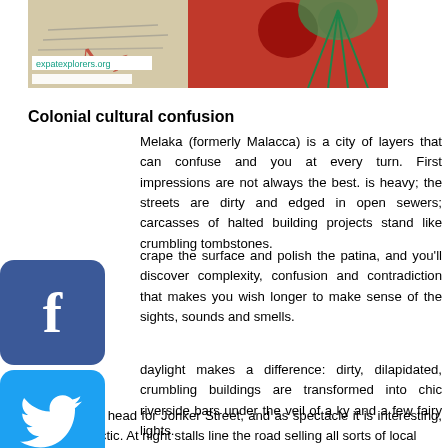[Figure (photo): Top banner image showing crafts/decorative objects with expatexplorers.org URL label and white bar below it]
Colonial cultural confusion
Melaka (formerly Malacca) is a city of layers that can confuse and you at every turn. First impressions are not always the best. is heavy; the streets are dirty and edged in open sewers; carcasses of halted building projects stand like crumbling tombstones.
crape the surface and polish the patina, and you’ll discover complexity, confusion and contradiction that makes you wish longer to make sense of the sights, sounds and smells.
daylight makes a difference: dirty, dilapidated, crumbling buildings are transformed into chic riverside bars under the veil of a ky and a few fairy lights.
Most tourists head for Jonker Street, and as spectacle it is interesting, busy and hectic. At night stalls line the road selling all sorts of local